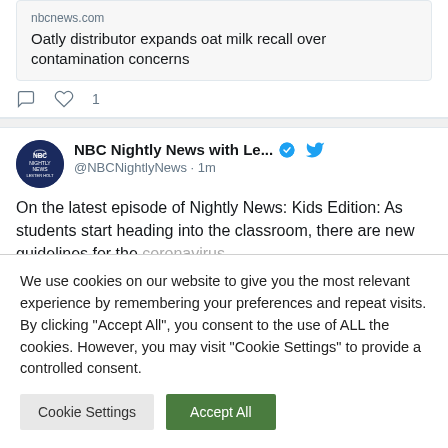nbcnews.com
Oatly distributor expands oat milk recall over contamination concerns
1
NBC Nightly News with Le... @NBCNightlyNews · 1m
On the latest episode of Nightly News: Kids Edition: As students start heading into the classroom, there are new guidelines for the coronavirus
We use cookies on our website to give you the most relevant experience by remembering your preferences and repeat visits. By clicking "Accept All", you consent to the use of ALL the cookies. However, you may visit "Cookie Settings" to provide a controlled consent.
Cookie Settings
Accept All